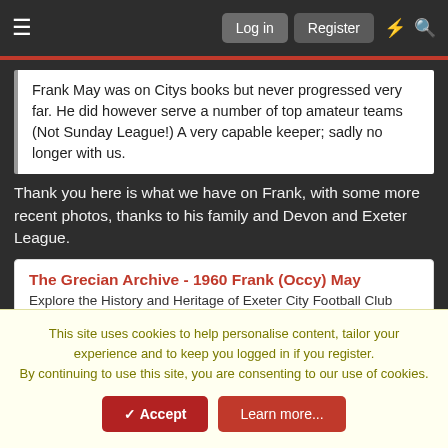Log in | Register
Frank May was on Citys books but never progressed very far. He did however serve a number of top amateur teams (Not Sunday League!) A very capable keeper; sadly no longer with us.
Thank you here is what we have on Frank, with some more recent photos, thanks to his family and Devon and Exeter League.
The Grecian Archive - 1960 Frank (Occy) May
Explore the History and Heritage of Exeter City Football Club
grecianarchive.exeter.ac.uk
iscalad
Jul 24, 2020  #7
This site uses cookies to help personalise content, tailor your experience and to keep you logged in if you register.
By continuing to use this site, you are consenting to our use of cookies.
Accept  Learn more...